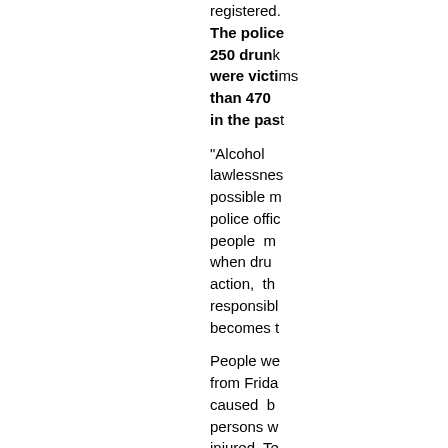registered. The police 250 drunk were victims than 470 in the pas
"Alcohol lawlessness possible n police offic people m when dru action, th responsibl becomes t
People we from Frida caused b persons w injured. Te the accide road acci was a BelTA info
For examp a Peugeot seventh k